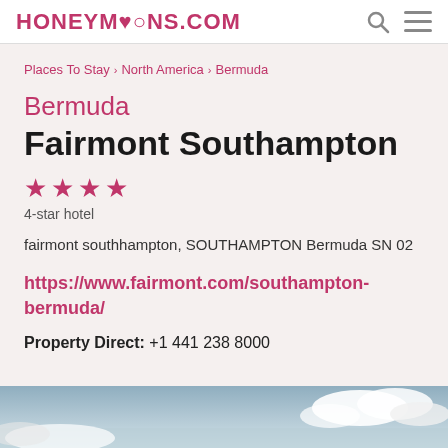HONEYMOONS.COM
Places To Stay › North America › Bermuda
Bermuda
Fairmont Southampton
4-star hotel
fairmont southhampton, SOUTHAMPTON Bermuda SN 02
https://www.fairmont.com/southampton-bermuda/
Property Direct: +1 441 238 8000
[Figure (photo): Scenic coastal panorama with blue sky and clouds at the bottom of the page]